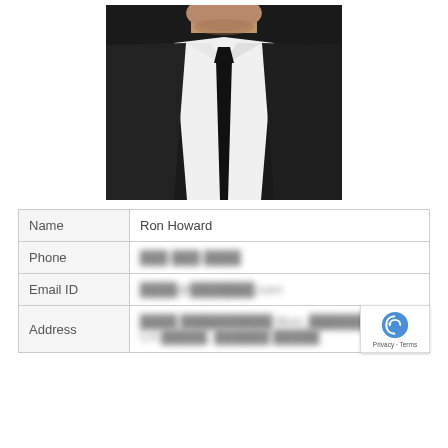[Figure (photo): Photo of a man in a black suit and black tie with white shirt, cropped from chin to waist]
| Name | Ron Howard |
| Phone | [blurred phone number] |
| Email ID | [blurred email address] |
| Address | [blurred address lines] |